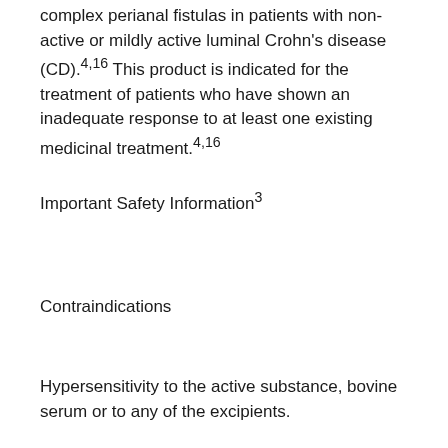complex perianal fistulas in patients with non-active or mildly active luminal Crohn's disease (CD).4,16 This product is indicated for the treatment of patients who have shown an inadequate response to at least one existing medicinal treatment.4,16
Important Safety Information3
Contraindications
Hypersensitivity to the active substance, bovine serum or to any of the excipients.